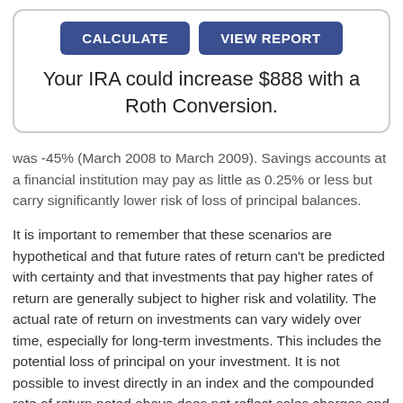[Figure (screenshot): Card with two blue buttons labeled CALCULATE and VIEW REPORT, and a title text 'Your IRA could increase $888 with a Roth Conversion.']
was -45% (March 2008 to March 2009). Savings accounts at a financial institution may pay as little as 0.25% or less but carry significantly lower risk of loss of principal balances.
It is important to remember that these scenarios are hypothetical and that future rates of return can't be predicted with certainty and that investments that pay higher rates of return are generally subject to higher risk and volatility. The actual rate of return on investments can vary widely over time, especially for long-term investments. This includes the potential loss of principal on your investment. It is not possible to invest directly in an index and the compounded rate of return noted above does not reflect sales charges and other fees that investment funds and/or investment